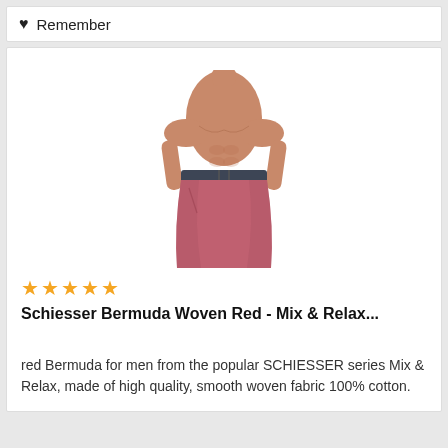Remember
[Figure (photo): A shirtless male model wearing red/pink Bermuda shorts with a dark waistband, product photo on white background]
★★★★★
Schiesser Bermuda Woven Red - Mix & Relax...
red Bermuda for men from the popular SCHIESSER series Mix & Relax, made of high quality, smooth woven fabric 100% cotton.